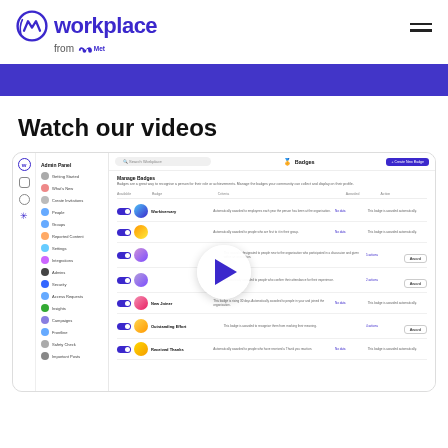[Figure (logo): Workplace from Meta logo — blue circular W icon with 'workplace' wordmark in indigo, 'from Meta' in grey below]
[Figure (screenshot): Screenshot of Workplace Admin Panel showing the Badges management page with a list of badges (Workiversary, and others), toggle switches, award buttons, and a play button overlay in the center indicating a video thumbnail]
Watch our videos